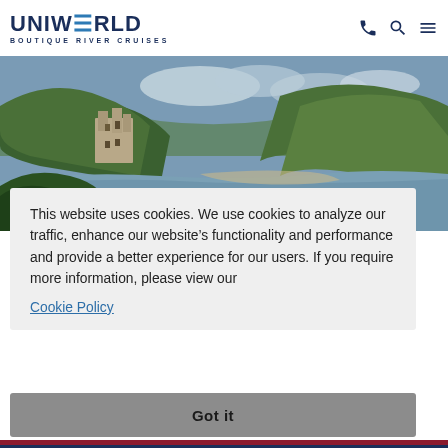UNIWORLD BOUTIQUE RIVER CRUISES
[Figure (photo): Scenic river view with a medieval castle on a green hilltop and forested mountains in the background, reflecting Uniworld river cruise destinations]
This website uses cookies. We use cookies to analyze our traffic, enhance our website's functionality and performance and provide a better experience for our users. If you require more information, please view our Cookie Policy
Got it